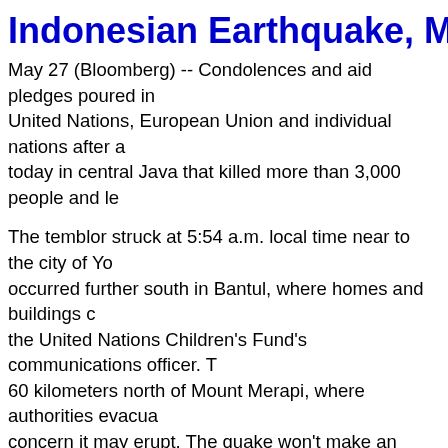Indonesian Earthquake, May
May 27 (Bloomberg) -- Condolences and aid pledges poured in United Nations, European Union and individual nations after a today in central Java that killed more than 3,000 people and le
The temblor struck at 5:54 a.m. local time near to the city of Yo occurred further south in Bantul, where homes and buildings c the United Nations Children's Fund's communications officer. T 60 kilometers north of Mount Merapi, where authorities evacua concern it may erupt. The quake won't make an eruption more seismologists. No tsunami has been reported.
The death toll has been rising steadily through the day. Indone most recently said 3,068 people were killed, according to Sky N
Hospitals in Yogyakarta need more doctors, medical supplies a for 15,000 patients, said Antara news agency, citing Budi Muly state-run Sardjito Hospital. Some patients are being treated in
The GCP prediction is similar to recent quakes, with a pre-qua and total duration of 8 hours. The result is Chisq 29439 on 288 0.0041 and Z of 2.645 (less 5% for variance = 2.513).